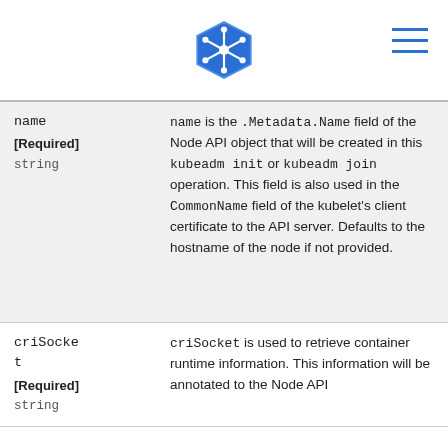Kubernetes logo and navigation menu
| Field | Description |
| --- | --- |
| name
[Required]
string | name is the .Metadata.Name field of the Node API object that will be created in this kubeadm init or kubeadm join operation. This field is also used in the CommonName field of the kubelet's client certificate to the API server. Defaults to the hostname of the node if not provided. |
| criSocket
[Required]
string | criSocket is used to retrieve container runtime information. This information will be annotated to the Node API |